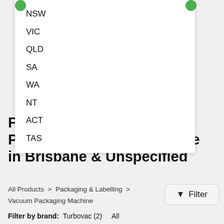NSW
VIC
QLD
SA
WA
NT
ACT
TAS
Find a Lavezzini Vacuum Packaging Machine for Sale in Brisbane & Unspecified
All Products > Packaging & Labelling > Vacuum Packaging Machine
Filter by brand: Turbovac (2)  All